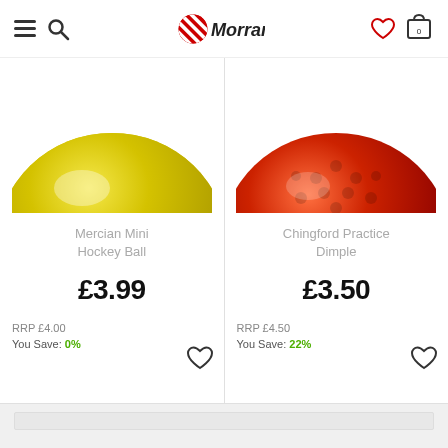[Figure (logo): Morrant sports retailer logo with red and white diagonal striped circular icon and bold black italic 'Morrant' text]
[Figure (photo): Yellow hockey ball (Mercian Mini Hockey Ball) cropped showing top half of ball against white background]
Mercian Mini Hockey Ball
£3.99
RRP £4.00
You Save: 0%
[Figure (photo): Red dimple hockey ball (Chingford Practice Dimple) cropped showing top portion against white background]
Chingford Practice Dimple
£3.50
RRP £4.50
You Save: 22%